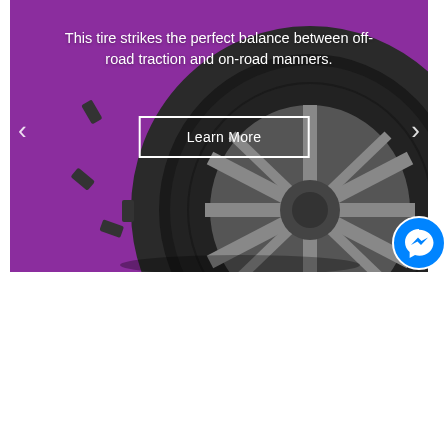[Figure (photo): A tire on a purple background in a carousel/slider banner. The tire is a Continental all-terrain style tire shown at an angle on an alloy wheel. Navigation arrows (< and >) are visible on the left and right sides of the banner.]
This tire strikes the perfect balance between off-road traction and on-road manners.
Learn More
[Figure (logo): Facebook Messenger chat bubble icon — blue circle with white lightning bolt/messenger logo]